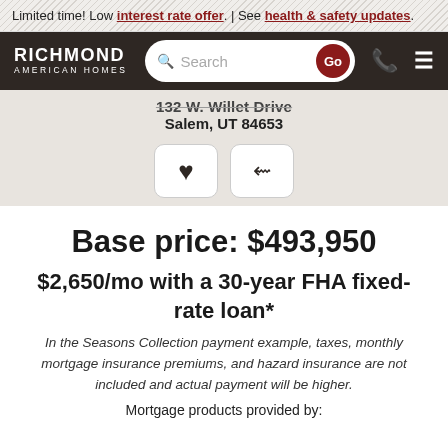Limited time! Low interest rate offer. | See health & safety updates.
[Figure (screenshot): Richmond American Homes navigation bar with logo, search bar with Go button, phone icon, and hamburger menu icon]
132 W. Willet Drive
Salem, UT 84653
[Figure (illustration): Two buttons: a heart/favorite button and a share button]
Base price: $493,950
$2,650/mo with a 30-year FHA fixed-rate loan*
In the Seasons Collection payment example, taxes, monthly mortgage insurance premiums, and hazard insurance are not included and actual payment will be higher.
Mortgage products provided by: